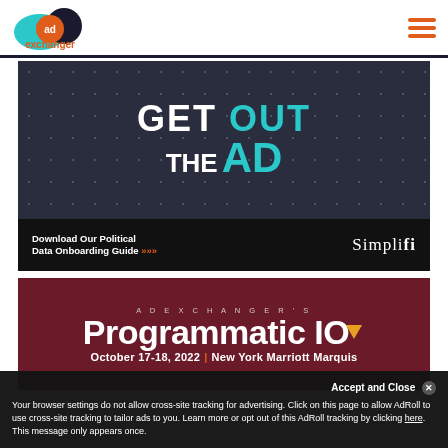[Figure (logo): AdExchanger logo with blue oval, dark blue circle, orange 'ad' circle, and 'exchanger' text]
[Figure (advertisement): Simplifi political data onboarding guide ad with 'GET OUT THE AD' text on dark star background]
[Figure (advertisement): AdExchanger's Programmatic IO event ad - October 17-18, 2022 | New York Marriott Marquis]
Accept and Close ✕
Your browser settings do not allow cross-site tracking for advertising. Click on this page to allow AdRoll to use cross-site tracking to tailor ads to you. Learn more or opt out of this AdRoll tracking by clicking here. This message only appears once.